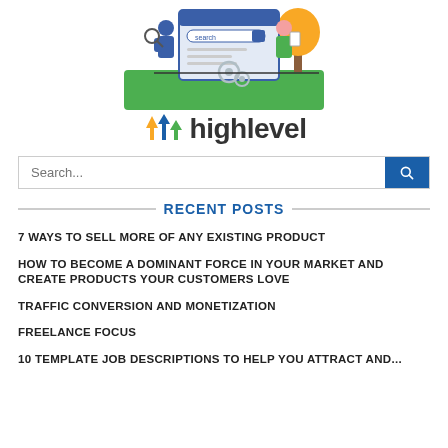[Figure (illustration): Website search illustration with two people and a browser window, gears, and search bar graphic]
[Figure (logo): Highlevel brand logo with orange and blue/green upward arrows next to the word 'highlevel' in dark text]
Search...
RECENT POSTS
7 WAYS TO SELL MORE OF ANY EXISTING PRODUCT
HOW TO BECOME A DOMINANT FORCE IN YOUR MARKET AND CREATE PRODUCTS YOUR CUSTOMERS LOVE
TRAFFIC CONVERSION AND MONETIZATION
FREELANCE FOCUS
10 TEMPLATE JOB DESCRIPTIONS TO HELP YOU ATTRACT AND...